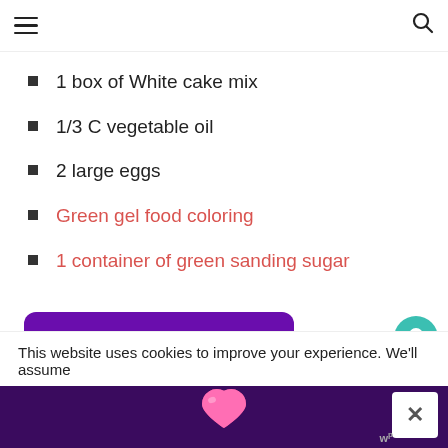Navigation bar with hamburger menu and search icon
1 box of White cake mix
1/3 C vegetable oil
2 large eggs
Green gel food coloring
1 container of green sanding sugar
[Figure (other): Shop Recipe button - purple rounded rectangle with white bold text]
Powered by chicory
[Figure (other): What's Next panel showing Dulce de Leche Stuffe...]
This website uses cookies to improve your experience. We'll assume
[Figure (other): Bottom advertisement banner with purple background and pink heart]